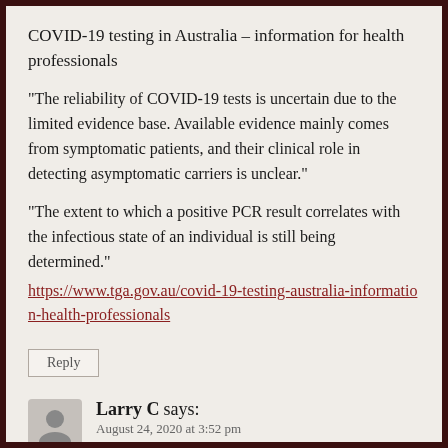COVID-19 testing in Australia – information for health professionals
“The reliability of COVID-19 tests is uncertain due to the limited evidence base. Available evidence mainly comes from symptomatic patients, and their clinical role in detecting asymptomatic carriers is unclear.”
“The extent to which a positive PCR result correlates with the infectious state of an individual is still being determined.” https://www.tga.gov.au/covid-19-testing-australia-information-health-professionals
Reply
Larry C says: August 24, 2020 at 3:52 pm
Sounds like Aussie Authorities are covering their arses, as the scales fall